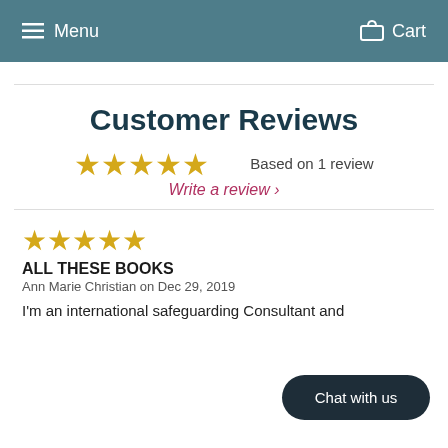Menu   Cart
Customer Reviews
[Figure (other): 5 gold stars rating display with text 'Based on 1 review']
Write a review ›
[Figure (other): 4 gold stars rating for individual review]
ALL THESE BOOKS
Ann Marie Christian on Dec 29, 2019
I'm an international safeguarding Consultant and